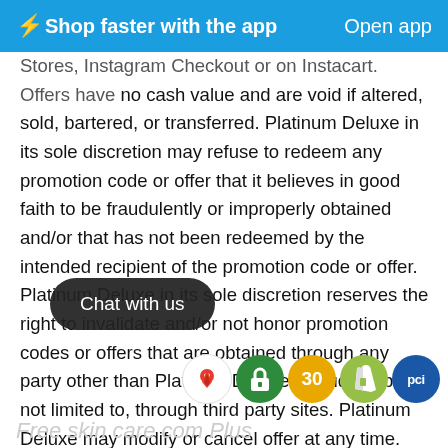⚡Shop faster with the app    Open app
Stores, Instagram Checkout or on Instacart. Offers have no cash value and are void if altered, sold, bartered, or transferred. Platinum Deluxe in its sole discretion may refuse to redeem any promotion code or offer that it believes in good faith to be fraudulently or improperly obtained and/or that has not been redeemed by the intended recipient of the promotion code or offer. Platinum Deluxe in its sole discretion reserves the right to invalidate and/or not honor promotion codes or offers that are obtained through any party other than Platinum Deluxe, including, but not limited to, through third party sites. Platinum Deluxe may modify or cancel offer at any time. Free standard shipping offer valid on merchandise purchased through 12:59pm PT on 4/31/21 on PlatinumDeluxe.com.
[Figure (other): Chat with us button overlay]
[Figure (other): Icon bar with map, lock, 30-day, Shopify, and PCI icons]
Free skin care com Plus